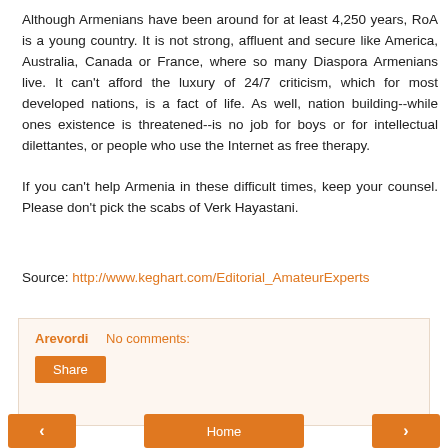Although Armenians have been around for at least 4,250 years, RoA is a young country. It is not strong, affluent and secure like America, Australia, Canada or France, where so many Diaspora Armenians live. It can't afford the luxury of 24/7 criticism, which for most developed nations, is a fact of life. As well, nation building--while ones existence is threatened--is no job for boys or for intellectual dilettantes, or people who use the Internet as free therapy.

If you can't help Armenia in these difficult times, keep your counsel. Please don't pick the scabs of Verk Hayastani.
Source: http://www.keghart.com/Editorial_AmateurExperts
Arevordi   No comments:
Share